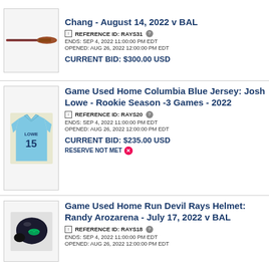[Figure (photo): Game used baseball bat photo]
Chang - August 14, 2022 v BAL
REFERENCE ID: RAYS31 | ENDS: SEP 4, 2022 11:00:00 PM EDT | OPENED: AUG 26, 2022 12:00:00 PM EDT
CURRENT BID: $300.00 USD
[Figure (photo): Game used home Columbia Blue jersey #15 Josh Lowe photo]
Game Used Home Columbia Blue Jersey: Josh Lowe - Rookie Season -3 Games - 2022
REFERENCE ID: RAYS20 | ENDS: SEP 4, 2022 11:00:00 PM EDT | OPENED: AUG 26, 2022 12:00:00 PM EDT
CURRENT BID: $235.00 USD
RESERVE NOT MET
[Figure (photo): Game used home run Devil Rays black helmet photo]
Game Used Home Run Devil Rays Helmet: Randy Arozarena - July 17, 2022 v BAL
REFERENCE ID: RAYS18 | ENDS: SEP 4, 2022 11:00:00 PM EDT | OPENED: AUG 26, 2022 12:00:00 PM EDT